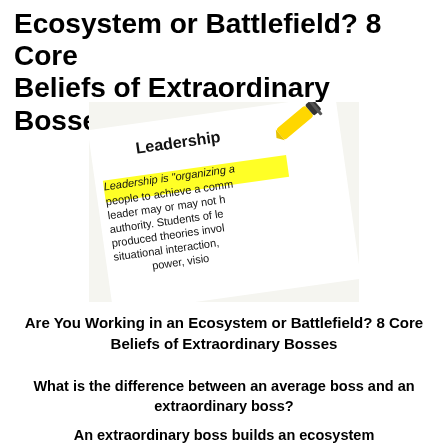Ecosystem or Battlefield? 8 Core Beliefs of Extraordinary Bosses
[Figure (photo): A photo of a dictionary or text page with the word 'Leadership' highlighted in yellow by a highlighter marker. The text reads: 'Leadership is organizing a people to achieve a comm leader may or may not h authority. Students of le produced theories invol situational interaction, power, visio']
Are You Working in an Ecosystem or Battlefield? 8 Core Beliefs of Extraordinary Bosses
What is the difference between an average boss and an extraordinary boss?
An extraordinary boss builds an ecosystem